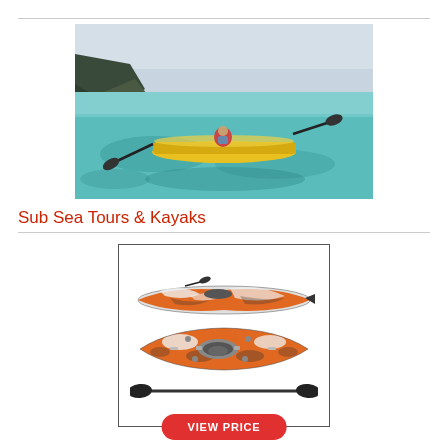[Figure (photo): Aerial view of a person kayaking in a yellow sea kayak over clear turquoise shallow ocean water, with a mountainous coastline in the background]
Sub Sea Tours & Kayaks
[Figure (photo): Product image showing side view and top view of an orange/white/black camo sit-on-top fishing kayak, along with a black kayak paddle below it, inside a bordered box with a red VIEW PRICE button]